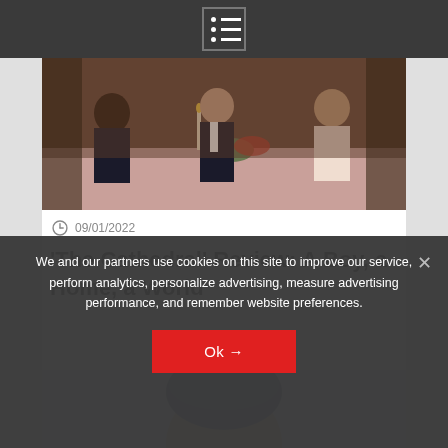Navigation menu icon
[Figure (photo): Scene from a period drama showing people in formal attire at a dining table with candles and flowers]
09/01/2022
'The Cathedral' Review: A Boy, a Home, a World
[Figure (photo): Partial view of a person wearing a blue hat or head covering against a light blue background]
We and our partners use cookies on this site to improve our service, perform analytics, personalize advertising, measure advertising performance, and remember website preferences.
Ok →